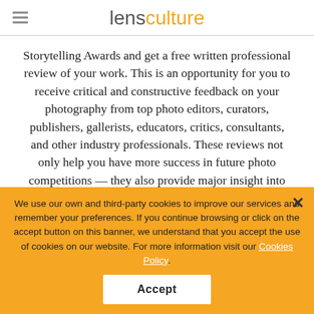lensculture
Storytelling Awards and get a free written professional review of your work. This is an opportunity for you to receive critical and constructive feedback on your photography from top photo editors, curators, publishers, gallerists, educators, critics, consultants, and other industry professionals. These reviews not only help you have more success in future photo competitions — they also provide major insight into moving forward creatively and professionally.
[Figure (photo): Outdoor nature photo showing green forest trees from a low angle looking up, with light sky visible through the canopy.]
We use our own and third-party cookies to improve our services and remember your preferences. If you continue browsing or click on the accept button on this banner, we understand that you accept the use of cookies on our website. For more information visit our Cookies Policy.